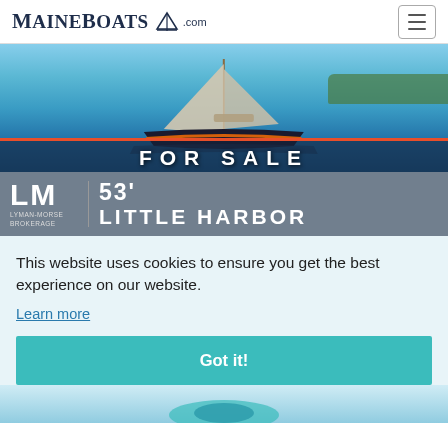[Figure (logo): MaineBoats.com logo with sailboat icon in top left header]
[Figure (illustration): Advertisement banner: photo of a dark sailboat on water with 'FOR SALE' text overlaid on a red-bordered band, below which is a gray bar showing 'LM / LYMAN-MORSE BROKERAGE' logo and '53' LITTLE HARBOR' boat name]
This website uses cookies to ensure you get the best experience on our website.
Learn more
Got it!
[Figure (photo): Partial view of another boat image at the bottom of the page, partially cropped]